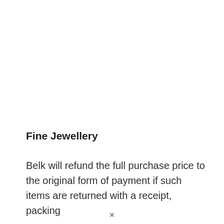Fine Jewellery
Belk will refund the full purchase price to the original form of payment if such items are returned with a receipt, packing